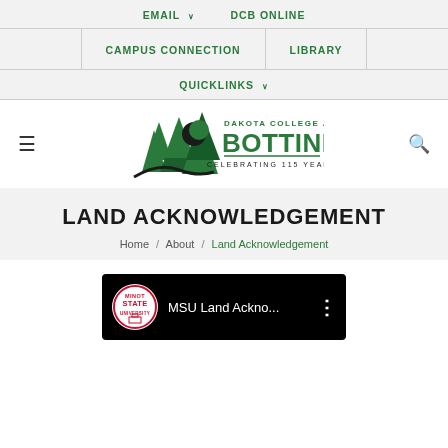EMAIL  DCB ONLINE  CAMPUS CONNECTION  LIBRARY  QUICKLINKS
[Figure (logo): Dakota College at Bottineau logo with pine trees graphic, text: DAKOTA COLLEGE AT BOTTINEAU, Celebrating 115 Years]
LAND ACKNOWLEDGEMENT
Home / About / Land Acknowledgement
[Figure (screenshot): YouTube video thumbnail showing MSU Land Ackno... with Minot State University logo circle icon and three-dot menu]